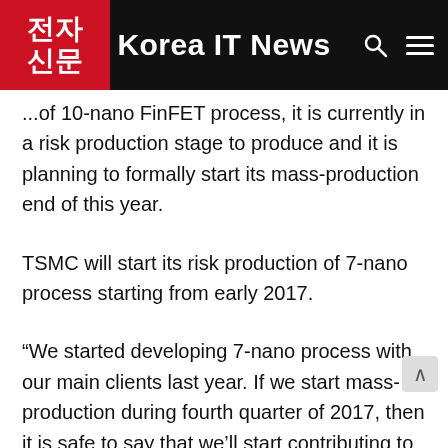Korea IT News
...of 10-nano FinFET process, it is currently in a risk production stage to produce and it is planning to formally start its mass-production end of this year.
TSMC will start its risk production of 7-nano process starting from early 2017.
“We started developing 7-nano process with our main clients last year. If we start mass-production during fourth quarter of 2017, then it is safe to say that we’ll start contributing to the sales starting from 2018.” Mark Liu of TSMC’s co-CEO said about its plan for 7-nano process.
It is also planning on 10-nano FinFET process. It will expand its 10-nano process production starting from a...